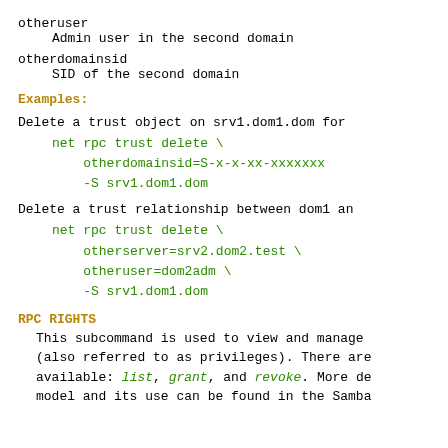otheruser
    Admin user in the second domain
otherdomainsid
    SID of the second domain
Examples:
Delete a trust object on srv1.dom1.dom for
net rpc trust delete \
    otherdomainsid=S-x-x-xx-xxxxxxx
    -S srv1.dom1.dom
Delete a trust relationship between dom1 an
net rpc trust delete \
    otherserver=srv2.dom2.test \
    otheruser=dom2adm \
    -S srv1.dom1.dom
RPC RIGHTS
This subcommand is used to view and manage (also referred to as privileges). There are available: list, grant, and revoke. More de model and its use can be found in the Samba